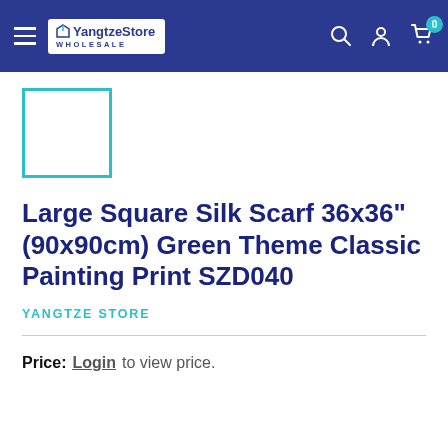YangtzeStore WHOLESALE — navigation header
[Figure (other): Small square thumbnail placeholder with cyan/teal border outline, no image content]
Large Square Silk Scarf 36x36" (90x90cm) Green Theme Classic Painting Print SZD040
YANGTZE STORE
Price: Login to view price.